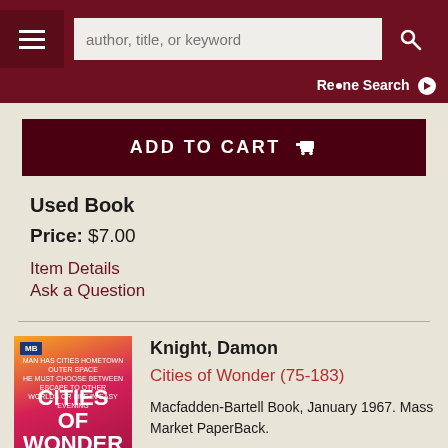author, title, or keyword
Refine Search
ADD TO CART
Used Book
Price: $7.00
Item Details
Ask a Question
Knight, Damon
Cities of Wonder (75-183)
Macfadden-Bartell Book, January 1967. Mass Market PaperBack.